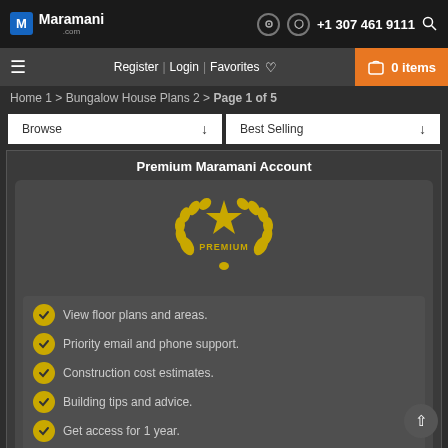Maramani.com | +1 307 461 9111
Register | Login | Favorites | 0 items
Home 1 > Bungalow House Plans 2 > Page 1 of 5
Browse | Best Selling
Premium Maramani Account
[Figure (logo): Gold premium badge with star and laurel wreath, text PREMIUM]
View floor plans and areas.
Priority email and phone support.
Construction cost estimates.
Building tips and advice.
Get access for 1 year.
$59.00 Discount Code for purchasing any plan